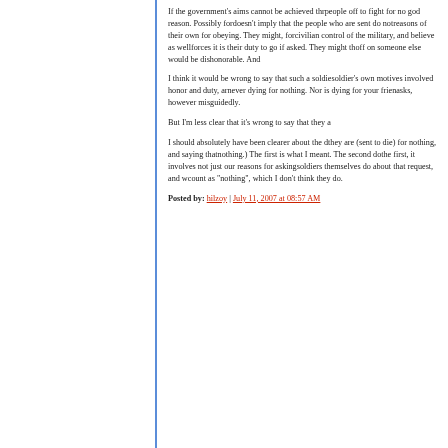If the government's aims cannot be achieved thr... people off to fight for no god reason. Possibly for... doesn't imply that the people who are sent do not... reasons of their own for obeying. They might, for... civilian control of the military, and believe as well... forces it is their duty to go if asked. They might th... off on someone else would be dishonorable. And...
I think it would be wrong to say that such a soldie... soldier's own motives involved honor and duty, ar... never dying for nothing. Nor is dying for your frien... asks, however misguidedly.
But I'm less clear that it's wrong to say that they a...
I should absolutely have been clearer about the d... they are (sent to die) for nothing, and saying that... nothing.) The first is what I meant. The second do... the first, it involves not just our reasons for asking... soldiers themselves do about that request, and w... count as "nothing", which I don't think they do.
Posted by: hilzoy | July 11, 2007 at 08:57 AM